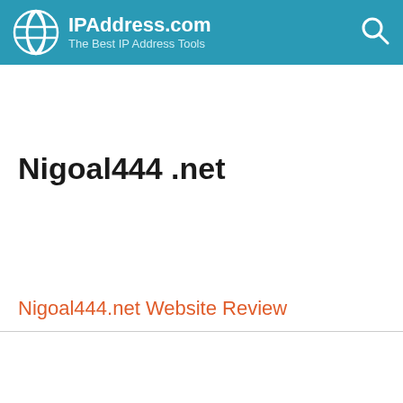IPAddress.com — The Best IP Address Tools
Nigoal444 .net
Nigoal444.net Website Review